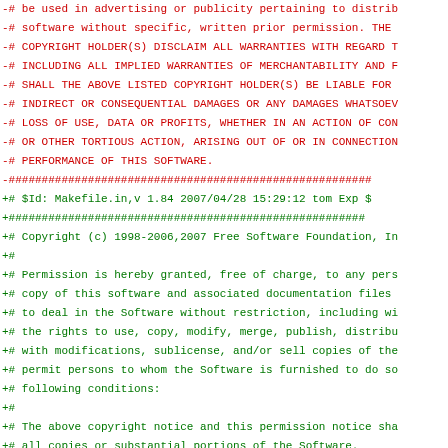Diff output showing removed lines (red, starting with -#) and added lines (green, starting with +#) of a Makefile license header